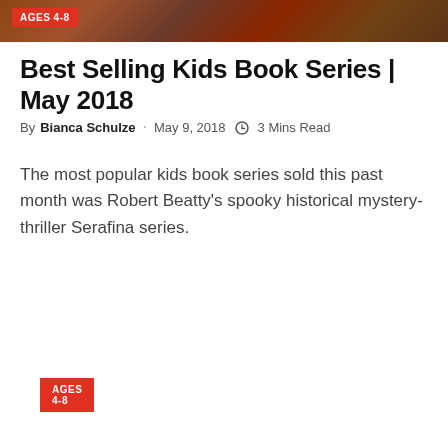[Figure (photo): Partial book cover image with warm brown and red tones at the top of the page]
Best Selling Kids Book Series | May 2018
By Bianca Schulze · May 9, 2018 · 3 Mins Read
The most popular kids book series sold this past month was Robert Beatty's spooky historical mystery-thriller Serafina series.
[Figure (other): AGES 4-8 red badge label at the bottom of the page]